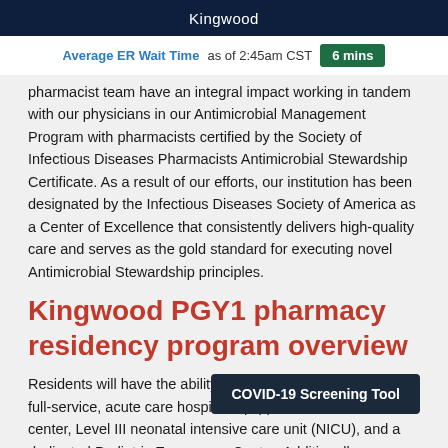Kingwood
Average ER Wait Time as of 2:45am CST  6 mins
pharmacist team have an integral impact working in tandem with our physicians in our Antimicrobial Management Program with pharmacists certified by the Society of Infectious Diseases Pharmacists Antimicrobial Stewardship Certificate. As a result of our efforts, our institution has been designated by the Infectious Diseases Society of America as a Center of Excellence that consistently delivers high-quality care and serves as the gold standard for executing novel Antimicrobial Stewardship principles.
Kingwood PGY1 pharmacy residency program overview
Residents will have the ability to learn, grow and develop in a full-service, acute care hospital equipped with a trauma center, Level III neonatal intensive care unit (NICU), and a dedicated Pediatric Emergency Center. Additionally, we are home to the only